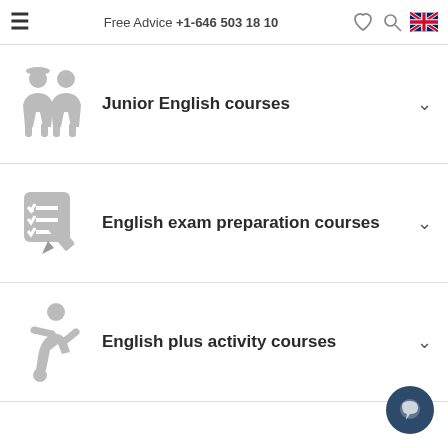Free Advice +1-646 503 18 10
Junior English courses
English exam preparation courses
English plus activity courses